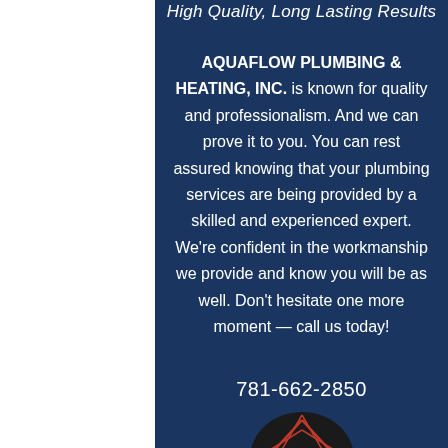High Quality, Long Lasting Results
AQUAFLOW PLUMBING & HEATING, INC. is known for quality and professionalism. And we can prove it to you. You can rest assured knowing that your plumbing services are being provided by a skilled and experienced expert. We're confident in the workmanship we provide and know you will be as well. Don't hesitate one more moment — call us today!
781-662-2850
[Figure (logo): Circular logo partially visible at bottom of page]